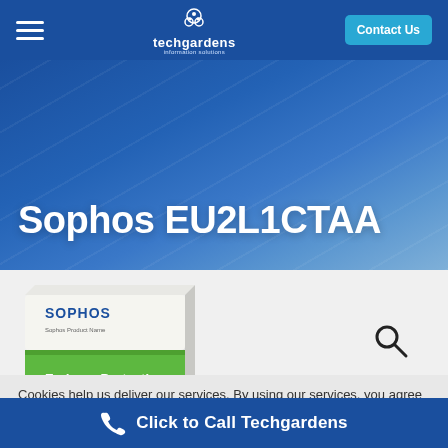techgardens — Contact Us
Sophos EU2L1CTAA
[Figure (photo): Sophos Enduser Protection software box product image]
Cookies help us deliver our services. By using our services, you agree to our use of cookies. By clicking "Accept", you
Click to Call Techgardens